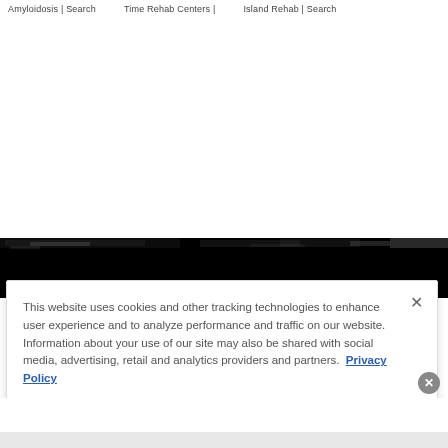Amyloidosis | Search   Time Rehab Centers |   Island Rehab | Search
[Figure (screenshot): A large black band with noisy/blurred texture across the middle of the page, representing a partially loaded or corrupted website screenshot.]
This website uses cookies and other tracking technologies to enhance user experience and to analyze performance and traffic on our website. Information about your use of our site may also be shared with social media, advertising, retail and analytics providers and partners. Privacy Policy